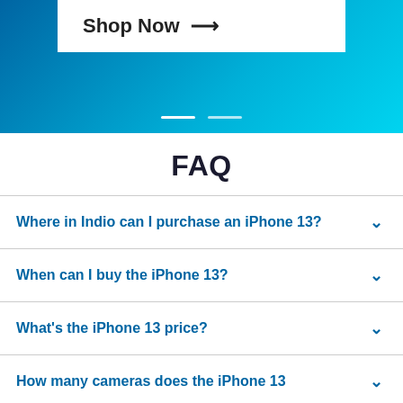[Figure (screenshot): Blue gradient hero banner with Shop Now button and white navigation dots]
FAQ
Where in Indio can I purchase an iPhone 13?
When can I buy the iPhone 13?
What's the iPhone 13 price?
How many cameras does the iPhone 13